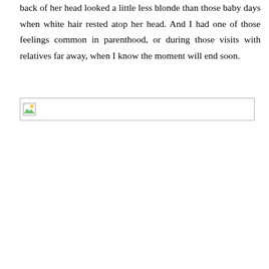back of her head looked a little less blonde than those baby days when white hair rested atop her head. And I had one of those feelings common in parenthood, or during those visits with relatives far away, when I know the moment will end soon.
[Figure (other): Broken/missing image placeholder with a small image icon in the top-left corner, displayed as a bordered rectangle.]